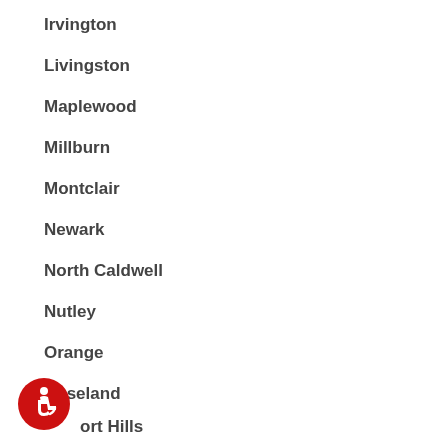Irvington
Livingston
Maplewood
Millburn
Montclair
Newark
North Caldwell
Nutley
Orange
Roseland
Short Hills
[Figure (illustration): Red circular accessibility icon with wheelchair user symbol]